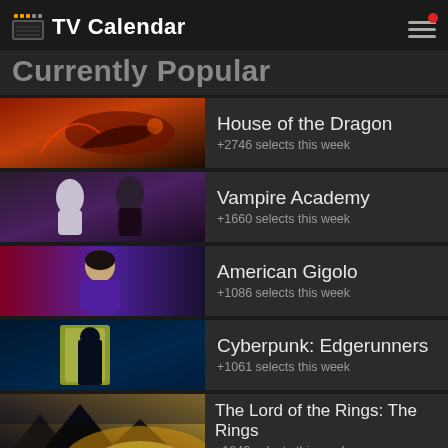TV Calendar
Currently Popular
House of the Dragon
+2746 selects this week
Vampire Academy
+1660 selects this week
American Gigolo
+1086 selects this week
Cyberpunk: Edgerunners
+1061 selects this week
The Lord of the Rings: The Rings
+1042 selects this week